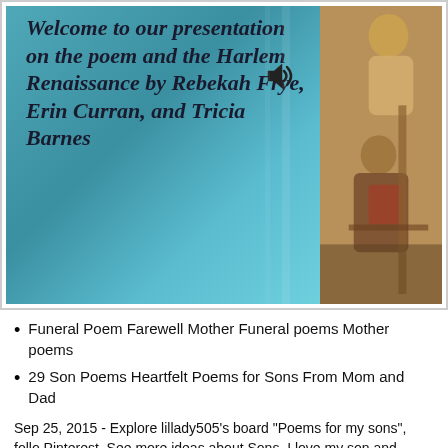[Figure (screenshot): Presentation slide with teal background showing title text 'Welcome to our presentation on the poem and the Harlem Renaissance by Rebekah Frye, Erin Curran, and Tricia Barnes' in bold italic black font, with a speaker icon, and a painting of figures on the right side.]
Funeral Poem Farewell Mother Funeral poems Mother poems
29 Son Poems Heartfelt Poems for Sons From Mom and Dad
Sep 25, 2015 - Explore lillady505's board "Poems for my sons", follo Pinterest. See more ideas about Sons. I love my son and Poem for m